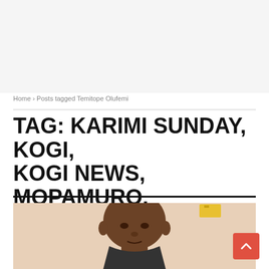Home › Posts tagged Temitope Olufemi
TAG: KARIMI SUNDAY, KOGI, KOGI NEWS, MOPAMURO, TEMITOPE OLUFEMI, YAGBA
[Figure (photo): Portrait photo of a bald man looking at the camera, beige/peach background, a yellow object visible in the upper right corner]